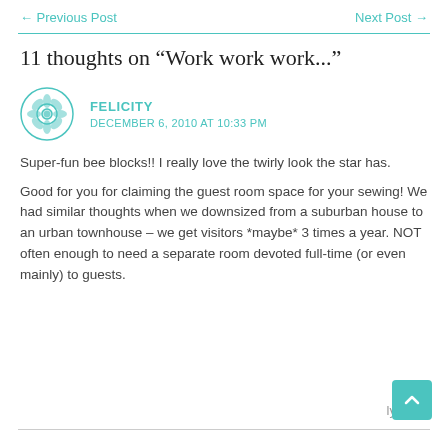← Previous Post    Next Post →
11 thoughts on “Work work work...”
FELICITY
DECEMBER 6, 2010 AT 10:33 PM
Super-fun bee blocks!! I really love the twirly look the star has.

Good for you for claiming the guest room space for your sewing! We had similar thoughts when we downsized from a suburban house to an urban townhouse – we get visitors *maybe* 3 times a year. NOT often enough to need a separate room devoted full-time (or even mainly) to guests.